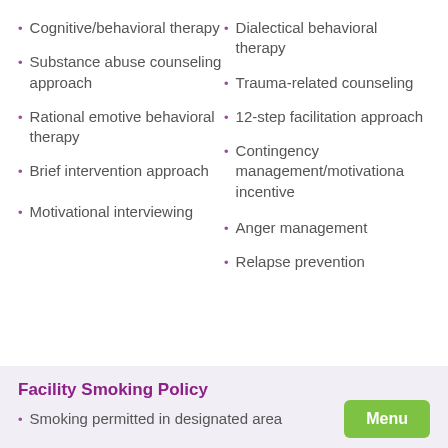Cognitive/behavioral therapy
Substance abuse counseling approach
Rational emotive behavioral therapy
Brief intervention approach
Motivational interviewing
Dialectical behavioral therapy
Trauma-related counseling
12-step facilitation approach
Contingency management/motivational incentive
Anger management
Relapse prevention
Facility Smoking Policy
Smoking permitted in designated area